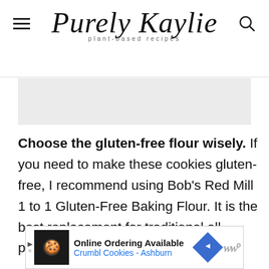Purely Kaylie — plant-based recipes
[Figure (photo): Light gray image placeholder block]
Choose the gluten-free flour wisely. If you need to make these cookies gluten-free, I recommend using Bob's Red Mill 1 to 1 Gluten-Free Baking Flour. It is the best replacement for traditional all-purpose flour.
[Figure (other): Ad banner: Online Ordering Available, Crumbl Cookies - Ashburn]